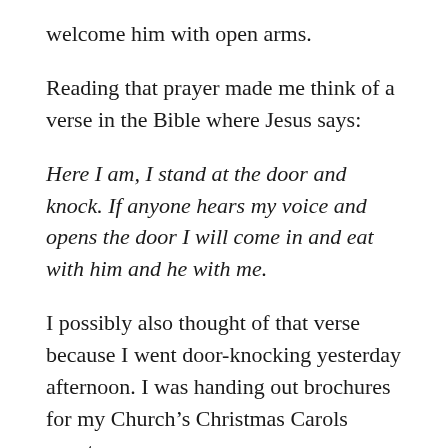welcome him with open arms.
Reading that prayer made me think of a verse in the Bible where Jesus says:
Here I am, I stand at the door and knock. If anyone hears my voice and opens the door I will come in and eat with him and he with me.
I possibly also thought of that verse because I went door-knocking yesterday afternoon. I was handing out brochures for my Church’s Christmas Carols event.
I know that HNAC Alison would not be a fan of Christians knocking on her front door.